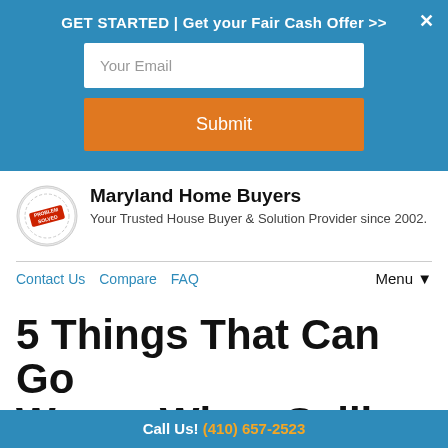GET STARTED | Get your Fair Cash Offer >>
[Figure (screenshot): Email input field with placeholder text 'Your Email']
[Figure (screenshot): Orange submit button with text 'Submit']
[Figure (logo): Maryland Home Buyers circular seal/stamp logo]
Maryland Home Buyers
Your Trusted House Buyer & Solution Provider since 2002.
Contact Us   Compare   FAQ   Menu ▼
5 Things That Can Go Wrong When Selling
Call Us! (410) 657-2523